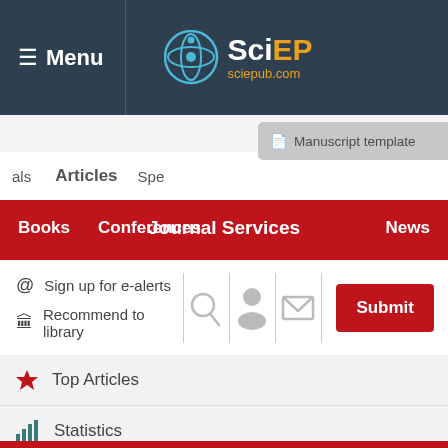Menu | SciEP sciepub.com
Manuscript template
Articles | Spe...
Books   Conferences   Journal Services   News
@ Sign up for e-alerts
Recommend to library
Top Articles
Statistics
Rss feed